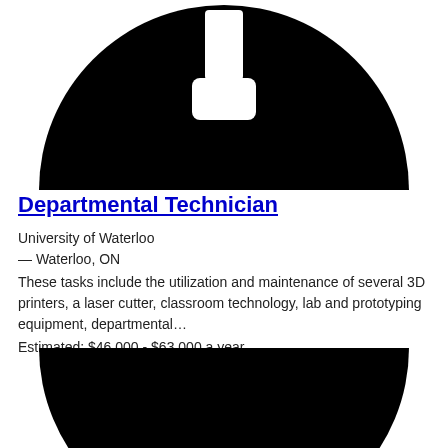[Figure (logo): Large black circle with white plug/connector icon in the center top portion of the page]
Departmental Technician
University of Waterloo
 — Waterloo, ON
These tasks include the utilization and maintenance of several 3D printers, a laser cutter, classroom technology, lab and prototyping equipment, departmental…
Estimated: $46,000 - $63,000 a year
[Figure (logo): Bottom portion of a large black circle, partially visible at the bottom of the page]